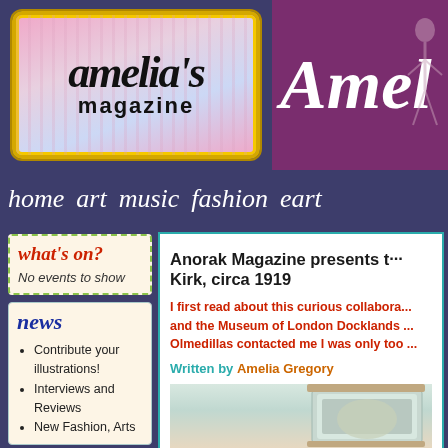[Figure (logo): Amelia's magazine logo with decorative gold border on pink striped background]
[Figure (logo): Amelia's magazine logo in white script on purple/mauve background with stylized figure]
home  art  music  fashion  eart
what's on?
No events to show
news
Contribute your illustrations!
Interviews and Reviews
New Fashion, Arts
Anorak Magazine presents t... Kirk, circa 1919
I first read about this curious collabora... and the Museum of London Docklands ... Olmedillas contacted me I was only too ...
Written by Amelia Gregory
[Figure (illustration): Watercolor illustration visible at bottom of article]